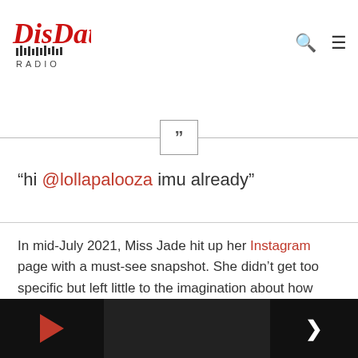DisDat Radio — navigation header with logo, search icon, and menu icon
“hi @lollapalooza imu already”
In mid-July 2021, Miss Jade hit up her Instagram page with a must-see snapshot. She didn’t get too specific but left little to the imagination about how much her speculated boyfriend meant to her.
[Figure (other): Media player bar at the bottom with play button on left, dark center area, and next arrow on right]